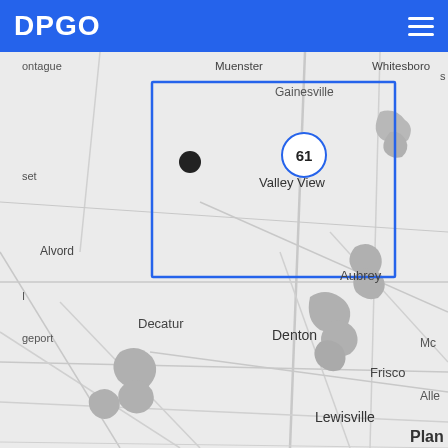DPGO
[Figure (map): Interactive map showing North Texas region centered on Cooke County with a blue rectangular selection box around the area containing Gainesville, Muenster, Valley View, and Whitesboro. A cluster marker showing '61' is visible in the selected area. Surrounding towns visible include Alvord, Decatur, Denton, Aubrey, Frisco, Lewisville, Plano, Southlake, Springtown, Azle, Fort Worth, Irving, Dallas, and Arlington. Gray water features (lakes/reservoirs) are visible throughout. Road networks shown in light gray.]